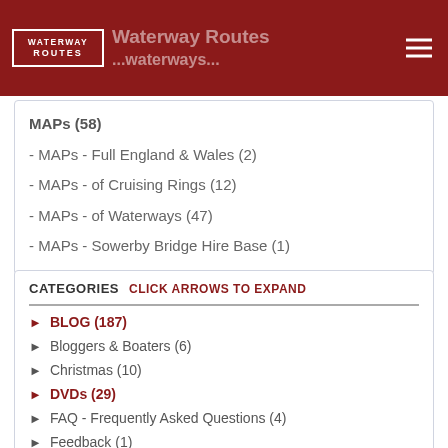Waterway Routes [header/logo]
MAPs (58)
- MAPs - Full England & Wales (2)
- MAPs - of Cruising Rings (12)
- MAPs - of Waterways (47)
- MAPs - Sowerby Bridge Hire Base (1)
CATEGORIES   CLICK ARROWS TO EXPAND
► BLOG (187)
► Bloggers & Boaters (6)
► Christmas (10)
► DVDs (29)
► FAQ - Frequently Asked Questions (4)
► Feedback (1)
► Hire Bases (7)
► MAPS (107)
► MAPS - Formats and Support (105)
► Narrowboat Waterway Routes (21)